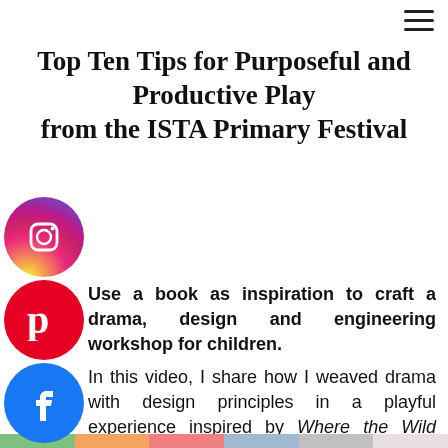Top Ten Tips for Purposeful and Productive Play from the ISTA Primary Festival
[Figure (illustration): Instagram social share icon - pink/purple gradient circle with Instagram camera logo]
[Figure (illustration): Pinterest social share icon - red circle with P logo]
Use a book as inspiration to craft a drama, design and engineering workshop for children.
[Figure (illustration): Facebook social share icon - blue circle with f logo]
In this video, I share how I weaved drama with design principles in a playful experience inspired by Where the Wild Things Are.
[Figure (illustration): Google+ social share icon - red circle with G+ logo]
[Figure (illustration): Twitter social share icon - blue circle with bird logo]